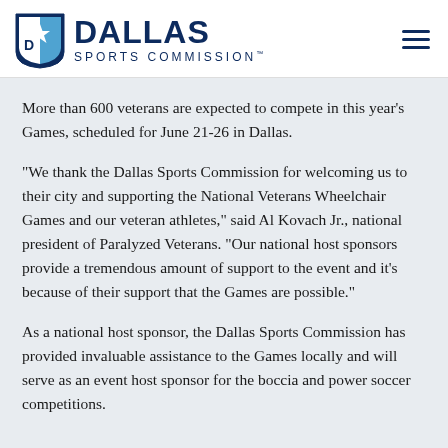[Figure (logo): Dallas Sports Commission logo with shield icon containing a star and stylized D, and the text DALLAS SPORTS COMMISSION with trademark symbol]
More than 600 veterans are expected to compete in this year's Games, scheduled for June 21-26 in Dallas.
"We thank the Dallas Sports Commission for welcoming us to their city and supporting the National Veterans Wheelchair Games and our veteran athletes," said Al Kovach Jr., national president of Paralyzed Veterans. "Our national host sponsors provide a tremendous amount of support to the event and it's because of their support that the Games are possible."
As a national host sponsor, the Dallas Sports Commission has provided invaluable assistance to the Games locally and will serve as an event host sponsor for the boccia and power soccer competitions.